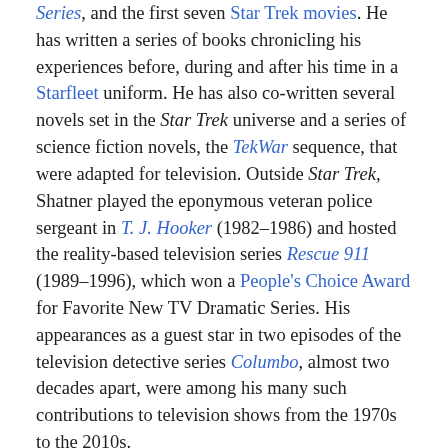Series, and the first seven Star Trek movies. He has written a series of books chronicling his experiences before, during and after his time in a Starfleet uniform. He has also co-written several novels set in the Star Trek universe and a series of science fiction novels, the TekWar sequence, that were adapted for television. Outside Star Trek, Shatner played the eponymous veteran police sergeant in T. J. Hooker (1982–1986) and hosted the reality-based television series Rescue 911 (1989–1996), which won a People's Choice Award for Favorite New TV Dramatic Series. His appearances as a guest star in two episodes of the television detective series Columbo, almost two decades apart, were among his many such contributions to television shows from the 1970s to the 2010s.
Shatner's television career after his last appearance as James Kirk embraced comedy, drama and reality shows